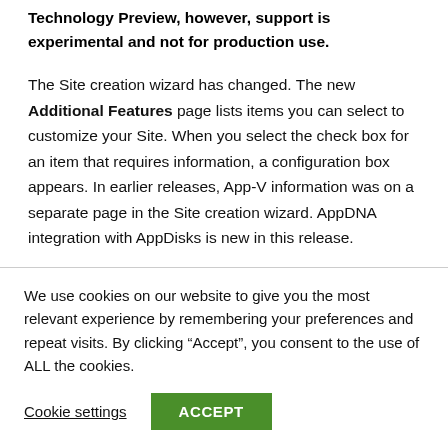Technology Preview, however, support is experimental and not for production use.
The Site creation wizard has changed. The new Additional Features page lists items you can select to customize your Site. When you select the check box for an item that requires information, a configuration box appears. In earlier releases, App-V information was on a separate page in the Site creation wizard. AppDNA integration with AppDisks is new in this release.
We use cookies on our website to give you the most relevant experience by remembering your preferences and repeat visits. By clicking “Accept”, you consent to the use of ALL the cookies.